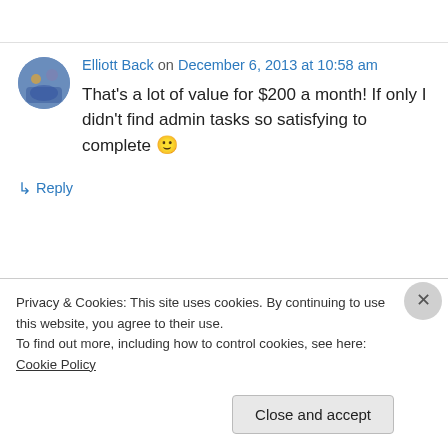Elliott Back on December 6, 2013 at 10:58 am
That's a lot of value for $200 a month! If only I didn't find admin tasks so satisfying to complete 🙂
↳ Reply
Privacy & Cookies: This site uses cookies. By continuing to use this website, you agree to their use.
To find out more, including how to control cookies, see here: Cookie Policy
Close and accept